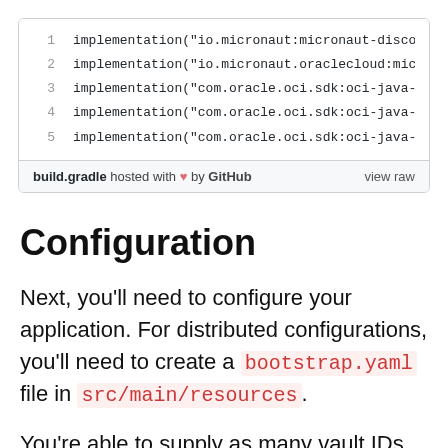[Figure (screenshot): A GitHub-hosted code snippet (build.gradle) showing 5 lines of Gradle implementation dependencies for Micronaut and Oracle OCI SDK, with a footer showing 'build.gradle hosted with ❤ by GitHub' and 'view raw'.]
Configuration
Next, you'll need to configure your application. For distributed configurations, you'll need to create a bootstrap.yaml file in src/main/resources.
You're able to supply as many vault IDs as you'd like to your configuration. For each vault...